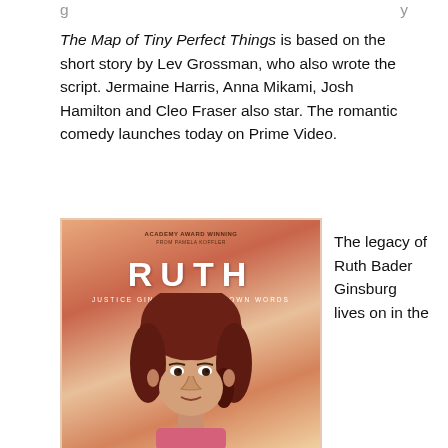The Map of Tiny Perfect Things is based on the short story by Lev Grossman, who also wrote the script. Jermaine Harris, Anna Mikami, Josh Hamilton and Cleo Fraser also star. The romantic comedy launches today on Prime Video.
[Figure (illustration): Movie poster for 'RUTH: Justice Ginsburg in Her Own Words' showing an illustrated portrait of Ruth Bader Ginsburg with red-orange watercolor background. Text at top reads 'Academy Award Winning' and subtitle reads 'Justice Ginsburg in Her Own Words'.]
The legacy of Ruth Bader Ginsburg lives on in the